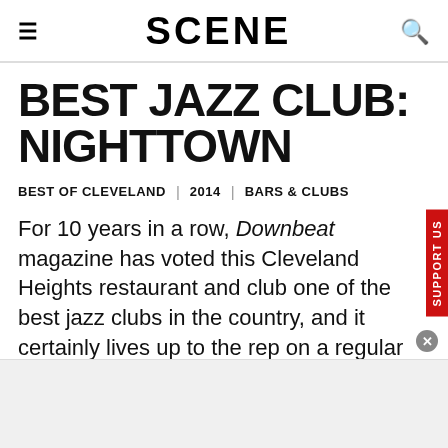SCENE
BEST JAZZ CLUB: NIGHTTOWN
BEST OF CLEVELAND | 2014 | BARS & CLUBS
For 10 years in a row, Downbeat magazine has voted this Cleveland Heights restaurant and club one of the best jazz clubs in the country, and it certainly lives up to the rep on a regular basis. Booked by locally based Jim Wadsworth Productions, the club regularly brings major jazz